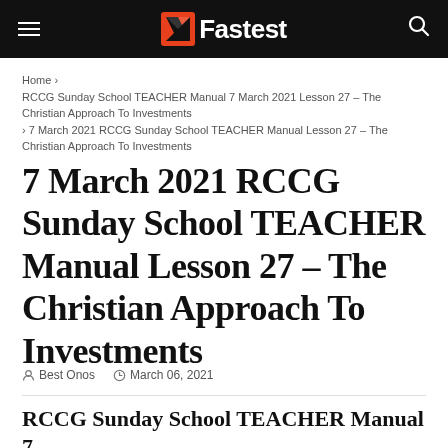NFastest
Home > RCCG Sunday School TEACHER Manual 7 March 2021 Lesson 27 – The Christian Approach To Investments > 7 March 2021 RCCG Sunday School TEACHER Manual Lesson 27 – The Christian Approach To Investments
7 March 2021 RCCG Sunday School TEACHER Manual Lesson 27 – The Christian Approach To Investments
Best Onos  March 06, 2021
RCCG Sunday School TEACHER Manual 7 March 2021 Lesson 27 – The Christian